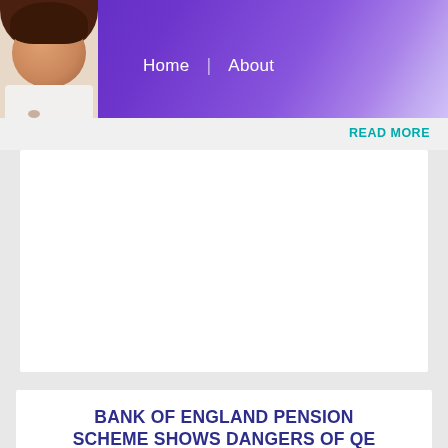Home | About
READ MORE
BANK OF ENGLAND PENSION SCHEME SHOWS DANGERS OF QE
September 12, 2016  Ros Altmann  3 Comments
12 September 2016 Bank of England's own pension scheme highlights the problems of QE Bank says QE should make gilt owners rebalance portfolios into riskier